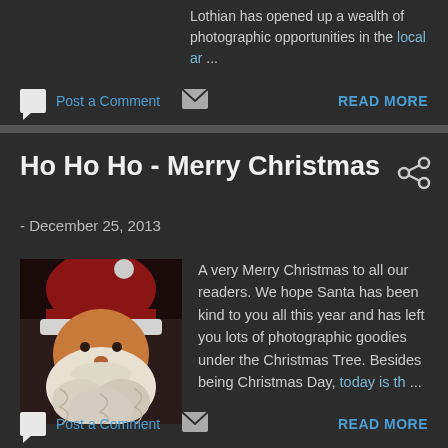Lothian has opened up a wealth of photographic opportunities in the local ar...
Post a Comment
READ MORE
Ho Ho Ho - Merry Christmas
- December 25, 2013
[Figure (photo): Close-up photo of a Santa Claus figurine with white beard and red hat]
A very Merry Christmas to all our readers. We hope Santa has been kind to you all this year and has left you lots of photographic goodies under the Christmas Tree. Besides being Christmas Day, today is th...
Post a Comment
READ MORE